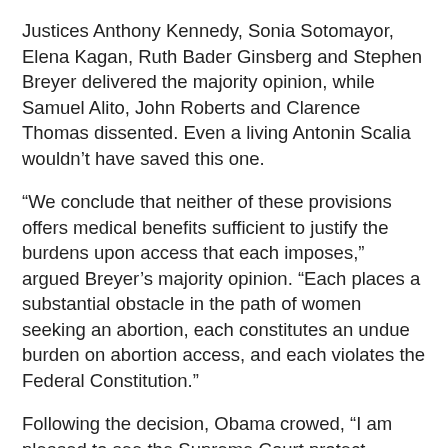Justices Anthony Kennedy, Sonia Sotomayor, Elena Kagan, Ruth Bader Ginsberg and Stephen Breyer delivered the majority opinion, while Samuel Alito, John Roberts and Clarence Thomas dissented. Even a living Antonin Scalia wouldn't have saved this one.
“We conclude that neither of these provisions offers medical benefits sufficient to justify the burdens upon access that each imposes,” argued Breyer’s majority opinion. “Each places a substantial obstacle in the path of women seeking an abortion, each constitutes an undue burden on abortion access, and each violates the Federal Constitution.”
Following the decision, Obama crowed, “I am pleased to see the Supreme Court protect women’s rights and health today. These restrictions harm women’s health and place an unconstitutional obstacle in the path of a woman’s reproductive freedom.”
And of course Hillary Clinton chimed in, “This fight isn’t over: The next president has to protect women’s health. Women won’t be ‘punished’ for exercising their basic rights.”